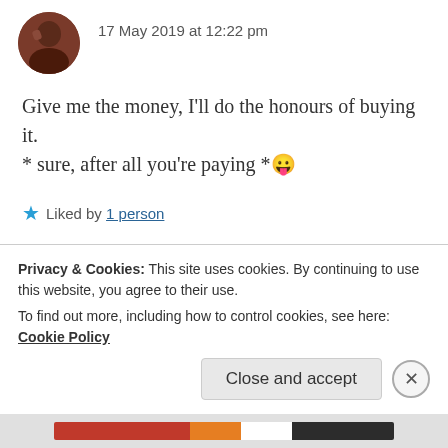[Figure (photo): Circular avatar/profile photo with reddish-brown tones]
17 May 2019 at 12:22 pm
Give me the money, I'll do the honours of buying it.
* sure, after all you're paying *😛
Liked by 1 person
[Figure (photo): Circular avatar with poop emoji icon for user Barney]
BARNEY
17 May 2019 at 12:53 pm
Privacy & Cookies: This site uses cookies. By continuing to use this website, you agree to their use.
To find out more, including how to control cookies, see here: Cookie Policy
Close and accept